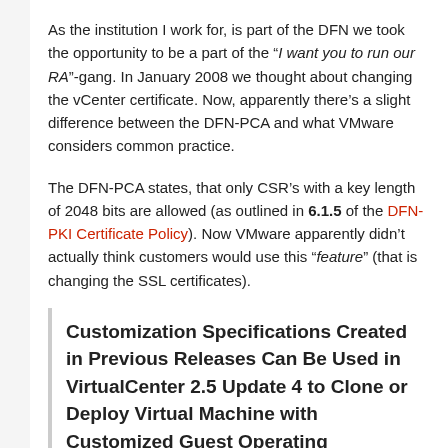As the institution I work for, is part of the DFN we took the opportunity to be a part of the “I want you to run our RA”-gang. In January 2008 we thought about changing the vCenter certificate. Now, apparently there’s a slight difference between the DFN-PCA and what VMware considers common practice.
The DFN-PCA states, that only CSR’s with a key length of 2048 bits are allowed (as outlined in 6.1.5 of the DFN-PKI Certificate Policy). Now VMware apparently didn’t actually think customers would use this “feature” (that is changing the SSL certificates).
Customization Specifications Created in Previous Releases Can Be Used in VirtualCenter 2.5 Update 4 to Clone or Deploy Virtual Machine with Customized Guest Operating